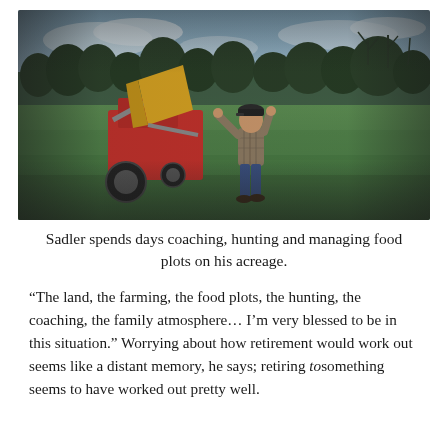[Figure (photo): A man in a plaid shirt and cap walks through a green field toward the camera, arms raised, with a red tractor with a yellow front loader bucket behind him. Trees line the background under a cloudy blue sky.]
Sadler spends days coaching, hunting and managing food plots on his acreage.
“The land, the farming, the food plots, the hunting, the coaching, the family atmosphere… I’m very blessed to be in this situation.” Worrying about how retirement would work out seems like a distant memory, he says; retiring tosomething seems to have worked out pretty well.